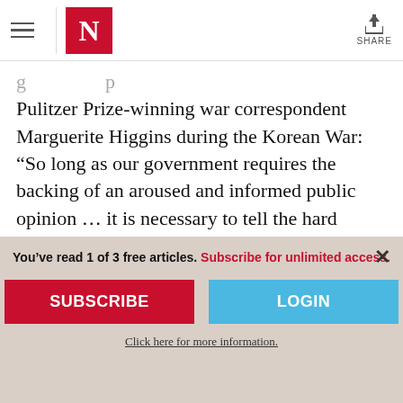The Nation — navigation header with hamburger menu, N logo, and share button
Pulitzer Prize-winning war correspondent Marguerite Higgins during the Korean War: “So long as our government requires the backing of an aroused and informed public opinion … it is necessary to tell the hard bruising truth.”

Then it goes on to bemoan the fact that,
You’ve read 1 of 3 free articles. Subscribe for unlimited access.
SUBSCRIBE
LOGIN
Click here for more information.